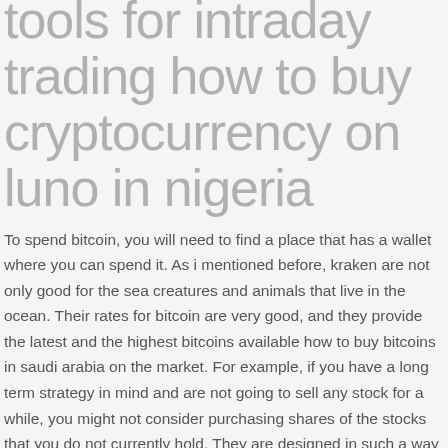tools for intraday trading how to buy cryptocurrency on luno in nigeria
To spend bitcoin, you will need to find a place that has a wallet where you can spend it. As i mentioned before, kraken are not only good for the sea creatures and animals that live in the ocean. Their rates for bitcoin are very good, and they provide the latest and the highest bitcoins available how to buy bitcoins in saudi arabia on the market. For example, if you have a long term strategy in mind and are not going to sell any stock for a while, you might not consider purchasing shares of the stocks that you do not currently hold. They are designed in such a way that you can store and access bitcoins securely without any risk. El primer nivel de participación how to